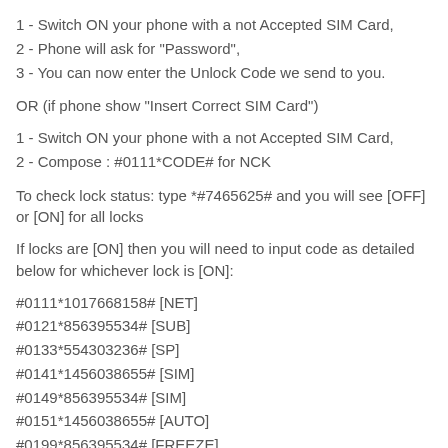1 - Switch ON your phone with a not Accepted SIM Card,
2 - Phone will ask for "Password",
3 - You can now enter the Unlock Code we send to you.
OR (if phone show "Insert Correct SIM Card")
1 - Switch ON your phone with a not Accepted SIM Card,
2 - Compose : #0111*CODE# for NCK
To check lock status: type *#7465625# and you will see [OFF] or [ON] for all locks
If locks are [ON] then you will need to input code as detailed below for whichever lock is [ON]:
#0111*1017668158# [NET]
#0121*856395534# [SUB]
#0133*554303236# [SP]
#0141*1456038655# [SIM]
#0149*856395534# [SIM]
#0151*1456038655# [AUTO]
#0199*856395534# [FREEZE]